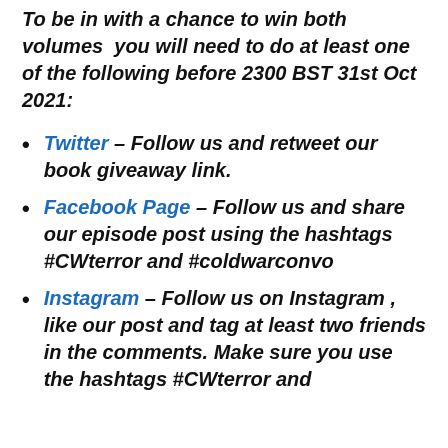To be in with a chance to win both volumes  you will need to do at least one of the following before 2300 BST 31st Oct 2021:
Twitter – Follow us and retweet our book giveaway link.
Facebook Page – Follow us and share our episode post using the hashtags #CWterror and #coldwarconvo
Instagram – Follow us on Instagram , like our post and tag at least two friends in the comments. Make sure you use  the hashtags #CWterror and